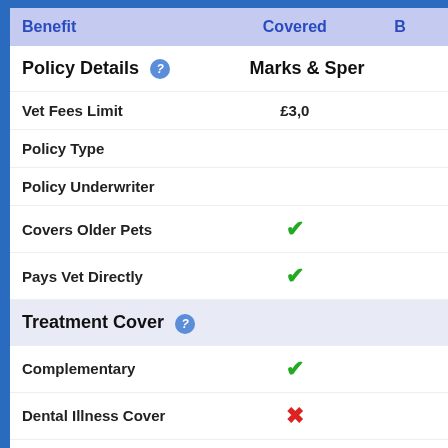| Benefit | Covered | B… |
| --- | --- | --- |
| Policy Details ? | Marks & Spe… |  |
| Vet Fees Limit | £3,0… |  |
| Policy Type |  |  |
| Policy Underwriter |  |  |
| Covers Older Pets | ✓ |  |
| Pays Vet Directly | ✓ |  |
| Treatment Cover ? |  |  |
| Complementary | ✓ |  |
| Dental Illness Cover | ✗ |  |
| Farewell Cover | ✓ |  |
| Food | ✗ |  |
| Death or Loss ? |  |  |